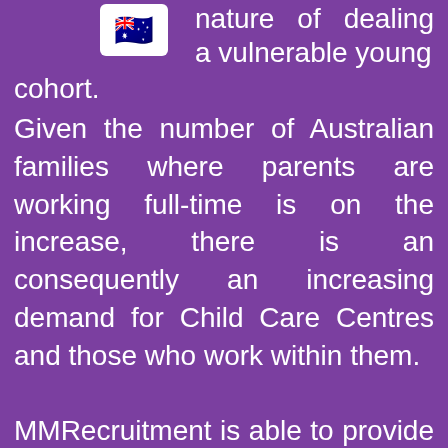[Figure (illustration): Australian flag emoji icon in a white rounded rectangle]
nature of dealing with a vulnerable young cohort. Given the number of Australian families where parents are working full-time is on the increase, there is an consequently an increasing demand for Child Care Centres and those who work within them. MMRecruitment is able to provide skilled, motivated, and highly enthusiastic, candidates with good English, many of whom are already studying in Australia, or are Early